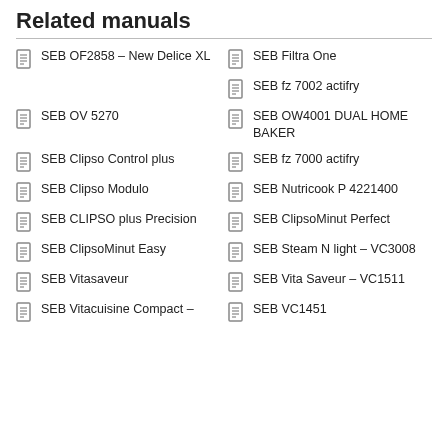Related manuals
SEB OF2858 – New Delice XL
SEB Filtra One
SEB fz 7002 actifry
SEB OV 5270
SEB OW4001 DUAL HOME BAKER
SEB Clipso Control plus
SEB fz 7000 actifry
SEB Clipso Modulo
SEB Nutricook P 4221400
SEB CLIPSO plus Precision
SEB ClipsoMinut Perfect
SEB ClipsoMinut Easy
SEB Steam N light – VC3008
SEB Vitasaveur
SEB Vita Saveur – VC1511
SEB Vitacuisine Compact –
SEB VC1451